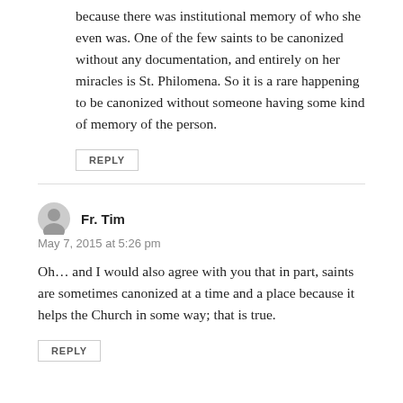because there was institutional memory of who she even was. One of the few saints to be canonized without any documentation, and entirely on her miracles is St. Philomena. So it is a rare happening to be canonized without someone having some kind of memory of the person.
REPLY
Fr. Tim
May 7, 2015 at 5:26 pm
Oh… and I would also agree with you that in part, saints are sometimes canonized at a time and a place because it helps the Church in some way; that is true.
REPLY